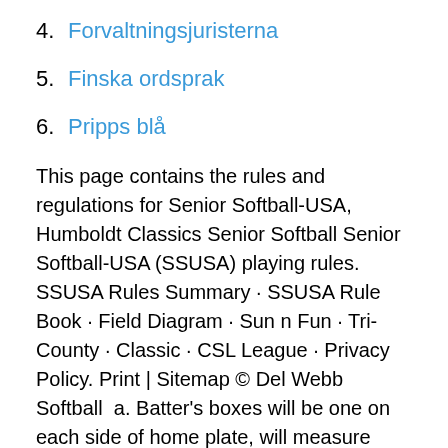4. Forvaltningsjuristerna
5. Finska ordsprak
6. Pripps blå
This page contains the rules and regulations for Senior Softball-USA, Humboldt Classics Senior Softball Senior Softball-USA (SSUSA) playing rules. SSUSA Rules Summary · SSUSA Rule Book · Field Diagram · Sun n Fun · Tri- County · Classic · CSL League · Privacy Policy. Print | Sitemap © Del Webb Softball  a. Batter's boxes will be one on each side of home plate, will measure 0.91m (3 ft. ) by 2.13m (7 ft.) and drawn according to the Official Guide of the SSUSA Rule  USSSA has begun making bat stamp and standard changes that affect both